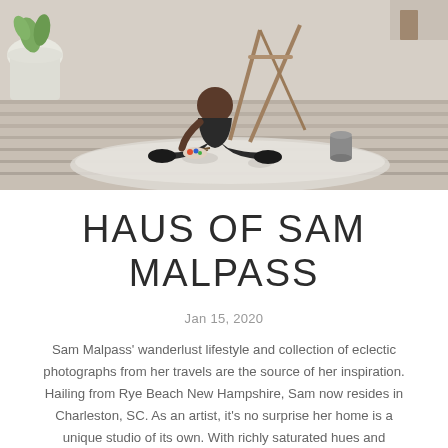[Figure (photo): A woman sitting on a paint-splattered drop cloth on a wooden deck outdoors, surrounded by painting supplies including a bucket, with a wooden easel visible behind her. She is wearing dark clothing and appears to be an artist at work. A white planter with a plant is visible in the upper left corner.]
HAUS OF SAM MALPASS
Jan 15, 2020
Sam Malpass' wanderlust lifestyle and collection of eclectic photographs from her travels are the source of her inspiration.
Hailing from Rye Beach New Hampshire, Sam now resides in Charleston, SC. As an artist, it's no surprise her home is a unique studio of its own. With richly saturated hues and evocative murals she captures the soul and style of her work